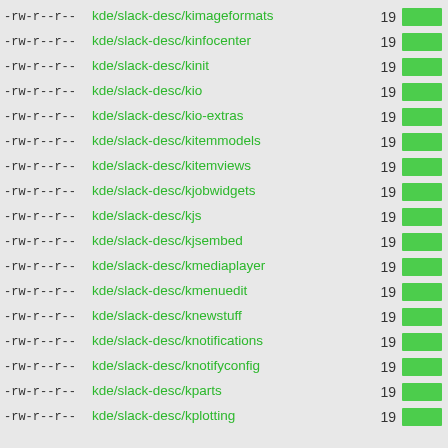-rw-r--r-- kde/slack-desc/kimageformats 19
-rw-r--r-- kde/slack-desc/kinfocenter 19
-rw-r--r-- kde/slack-desc/kinit 19
-rw-r--r-- kde/slack-desc/kio 19
-rw-r--r-- kde/slack-desc/kio-extras 19
-rw-r--r-- kde/slack-desc/kitemmodels 19
-rw-r--r-- kde/slack-desc/kitemviews 19
-rw-r--r-- kde/slack-desc/kjobwidgets 19
-rw-r--r-- kde/slack-desc/kjs 19
-rw-r--r-- kde/slack-desc/kjsembed 19
-rw-r--r-- kde/slack-desc/kmediaplayer 19
-rw-r--r-- kde/slack-desc/kmenuedit 19
-rw-r--r-- kde/slack-desc/knewstuff 19
-rw-r--r-- kde/slack-desc/knotifications 19
-rw-r--r-- kde/slack-desc/knotifyconfig 19
-rw-r--r-- kde/slack-desc/kparts 19
-rw-r--r-- kde/slack-desc/kplotting 19